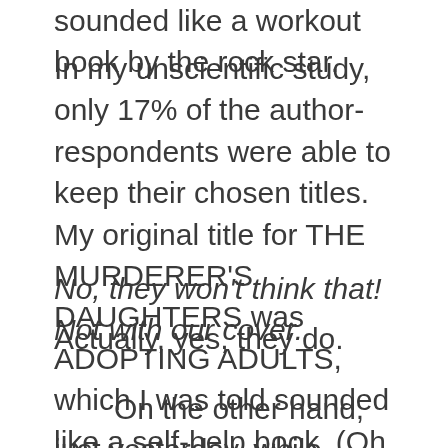sounded like a workout book by the rock star.
In my unscientific study, only 17% of the author-respondents were able to keep their chosen titles. My original title for THE MURDERER'S DAUGHTERS was ADOPTING ADULTS, which I was told sounded like a self-help book. (Oh, they were right on the money there.) My editor chose the final title, tacking on ‘a novel’ when I insisted people would think it was a mystery.
No, they won’t think that! Not with our cover.
Actually, yes, they do.
On the other hand, just yesterday, while bookclub skyping with the incredible women of Detroit, while discussing titles, one of the